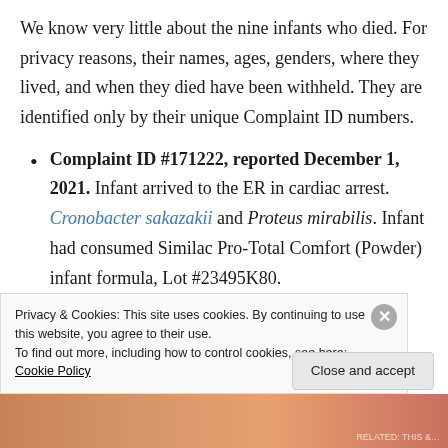We know very little about the nine infants who died. For privacy reasons, their names, ages, genders, where they lived, and when they died have been withheld. They are identified only by their unique Complaint ID numbers.
Complaint ID #171222, reported December 1, 2021. Infant arrived to the ER in cardiac arrest. Cronobacter sakazakii and Proteus mirabilis. Infant had consumed Similac Pro-Total Comfort (Powder) infant formula, Lot #23495K80.
Complaint ID #172435, reported February 22,
Privacy & Cookies: This site uses cookies. By continuing to use this website, you agree to their use.
To find out more, including how to control cookies, see here: Cookie Policy